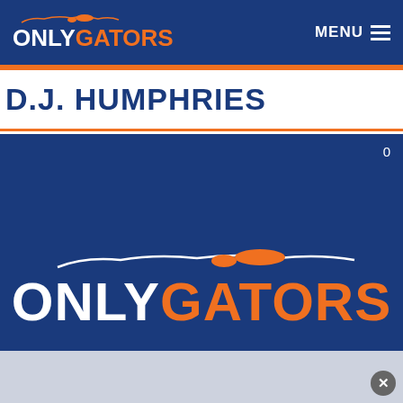ONLY GATORS  MENU
D.J. HUMPHRIES
[Figure (logo): Only Gators logo on blue background]
0